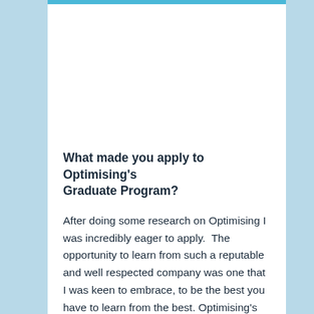What made you apply to Optimising's Graduate Program?
After doing some research on Optimising I was incredibly eager to apply.  The opportunity to learn from such a reputable and well respected company was one that I was keen to embrace, to be the best you have to learn from the best. Optimising's strong